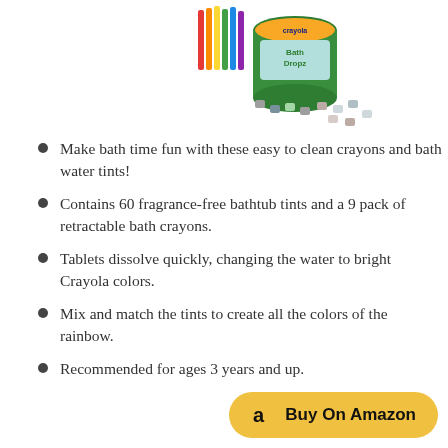[Figure (photo): Product image of Crayola bath crayons and bath drop tints in a green container, with small colored tablets scattered around it]
Make bath time fun with these easy to clean crayons and bath water tints!
Contains 60 fragrance-free bathtub tints and a 9 pack of retractable bath crayons.
Tablets dissolve quickly, changing the water to bright Crayola colors.
Mix and match the tints to create all the colors of the rainbow.
Recommended for ages 3 years and up.
[Figure (logo): Buy On Amazon button with Amazon logo]